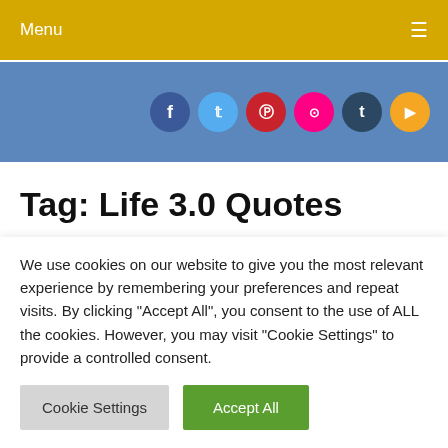Menu
[Figure (illustration): Blue banner with social media icons: Facebook, Twitter, Pinterest, Flickr, Tumblr, RSS]
Tag: Life 3.0 Quotes
Beautiful Quotes about Life
We use cookies on our website to give you the most relevant experience by remembering your preferences and repeat visits. By clicking "Accept All", you consent to the use of ALL the cookies. However, you may visit "Cookie Settings" to provide a controlled consent.
Cookie Settings | Accept All